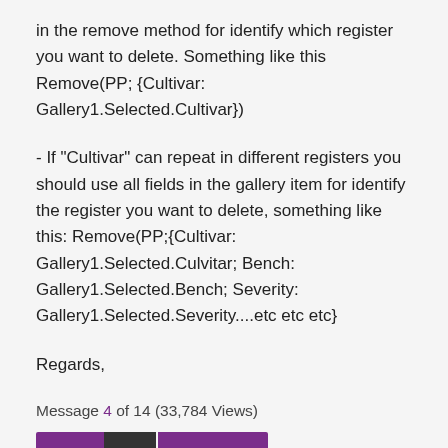in the remove method for identify which register you want to delete. Something like this Remove(PP; {Cultivar: Gallery1.Selected.Cultivar})
- If "Cultivar" can repeat in different registers you should use all fields in the gallery item for identify the register you want to delete, something like this: Remove(PP;{Cultivar: Gallery1.Selected.Culvitar; Bench: Gallery1.Selected.Bench; Severity: Gallery1.Selected.Severity....etc etc etc}
Regards,
Message 4 of 14 (33,784 Views)